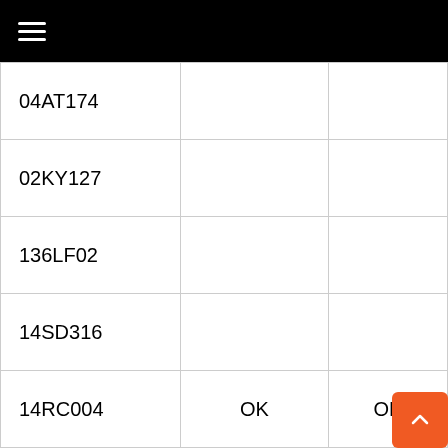≡
|  |  |  |
| --- | --- | --- |
| 04AT174 |  |  |
| 02KY127 |  |  |
| 136LF02 |  |  |
| 14SD316 |  |  |
| 14RC004 | OK | OK |
| 34RC012 |  |  |
| 195LR124 |  |  |
| 03FAT101 | OK | OK |
| 14SD007 | OK | OK |